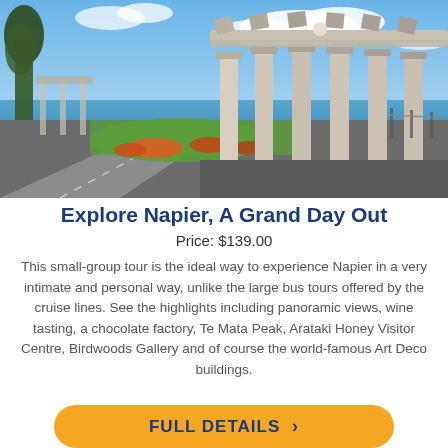[Figure (photo): Outdoor photo of a classical stone pergola with tall columns, colorful flower gardens, green lawn, and a blue sea in the background under a partly cloudy sky in Napier, New Zealand.]
Explore Napier, A Grand Day Out
Price: $139.00
This small-group tour is the ideal way to experience Napier in a very intimate and personal way, unlike the large bus tours offered by the cruise lines. See the highlights including panoramic views, wine tasting, a chocolate factory, Te Mata Peak, Arataki Honey Visitor Centre, Birdwoods Gallery and of course the world-famous Art Deco buildings.
FULL DETAILS →